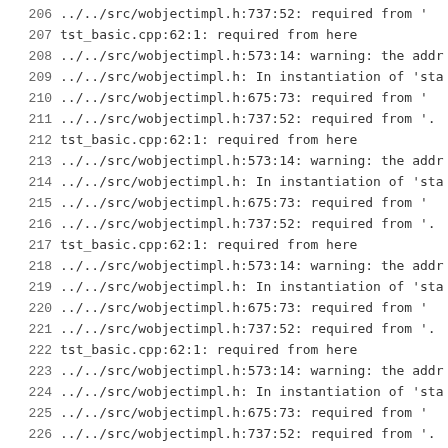206  ../../src/wobjectimpl.h:737:52:  required from '
207  tst_basic.cpp:62:1:   required from here
208  ../../src/wobjectimpl.h:573:14: warning: the addr
209  ../../src/wobjectimpl.h: In instantiation of 'sta
210  ../../src/wobjectimpl.h:675:73:  required from '
211  ../../src/wobjectimpl.h:737:52:  required from '.
212  tst_basic.cpp:62:1:   required from here
213  ../../src/wobjectimpl.h:573:14: warning: the addr
214  ../../src/wobjectimpl.h: In instantiation of 'sta
215  ../../src/wobjectimpl.h:675:73:  required from '
216  ../../src/wobjectimpl.h:737:52:  required from '.
217  tst_basic.cpp:62:1:   required from here
218  ../../src/wobjectimpl.h:573:14: warning: the addr
219  ../../src/wobjectimpl.h: In instantiation of 'sta
220  ../../src/wobjectimpl.h:675:73:  required from '
221  ../../src/wobjectimpl.h:737:52:  required from '.
222  tst_basic.cpp:62:1:   required from here
223  ../../src/wobjectimpl.h:573:14: warning: the addr
224  ../../src/wobjectimpl.h: In instantiation of 'sta
225  ../../src/wobjectimpl.h:675:73:  required from '
226  ../../src/wobjectimpl.h:737:52:  required from '.
227  tst_basic.cpp:62:1:   required from here